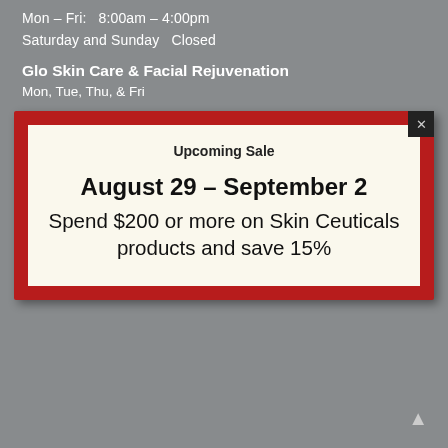Mon – Fri:   8:00am – 4:00pm
Saturday and Sunday   Closed
Glo Skin Care & Facial Rejuvenation
Mon, Tue, Thu, & Fri
[Figure (infographic): A popup modal with a red border on a grey background. Contains 'Upcoming Sale' header, dates 'August 29 – September 2', and promotional text 'Spend $200 or more on Skin Ceuticals products and save 15%'. Has a close (x) button in the top right corner.]